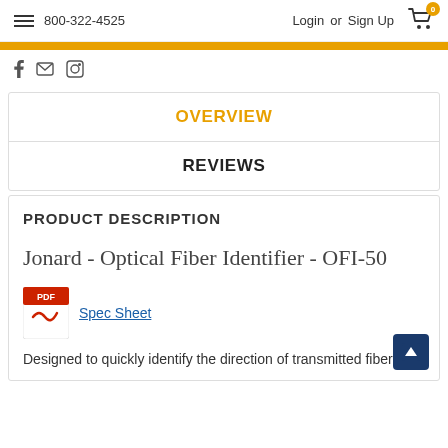800-322-4525  Login or Sign Up
OVERVIEW
REVIEWS
PRODUCT DESCRIPTION
Jonard - Optical Fiber Identifier - OFI-50
Spec Sheet
Designed to quickly identify the direction of transmitted fiber